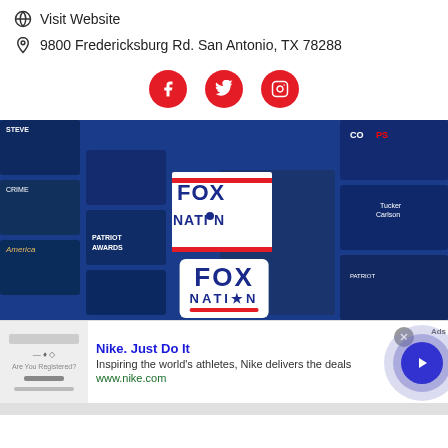Visit Website
9800 Fredericksburg Rd. San Antonio, TX 78288
[Figure (illustration): Three red circular social media icons: Facebook, Twitter, Instagram]
[Figure (photo): Fox Nation streaming service banner showing various show thumbnails on a blue background with Fox Nation logo overlaid twice]
[Figure (screenshot): Nike advertisement: 'Nike. Just Do It' with description 'Inspiring the world's athletes, Nike delivers the deals' and url www.nike.com, with a play button circle graphic on the right and a close X button]